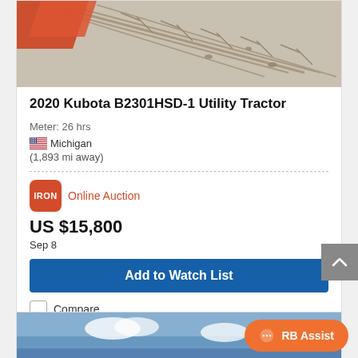[Figure (photo): Aerial photo of tractor tire tracks in sandy/dirt ground with orange/red implement visible at top left]
2020 Kubota B2301HSD-1 Utility Tractor
Meter: 26 hrs
🇺🇸 Michigan
(1,893 mi away)
[Figure (logo): IRON logo — orange/red rounded rectangle with white bold text IRON]
Online Auction
US $15,800
Sep 8
Add to Watch List
Compare
[Figure (photo): Partial photo showing blue sky, bottom of next listing card]